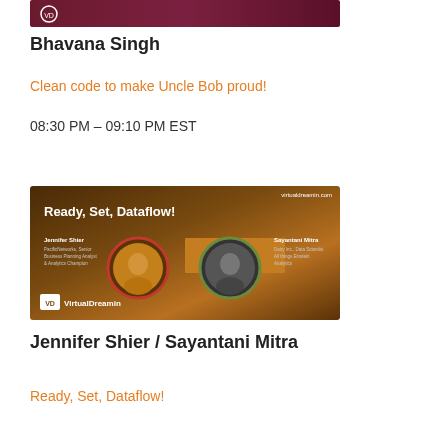[Figure (photo): Partial banner image at top for a VirtualDreamin session by Bhavana Singh, dark red/maroon background with logo]
Bhavana Singh
Clean code to make Uncle Bob proud!
08:30 PM – 09:10 PM EST
[Figure (photo): VirtualDreamin banner for 'Ready, Set, Dataflow!' session featuring Jennifer Shier and Sayantani Mitra with circular photo frames on brown gradient background]
Jennifer Shier / Sayantani Mitra
Ready, Set, Dataflow!